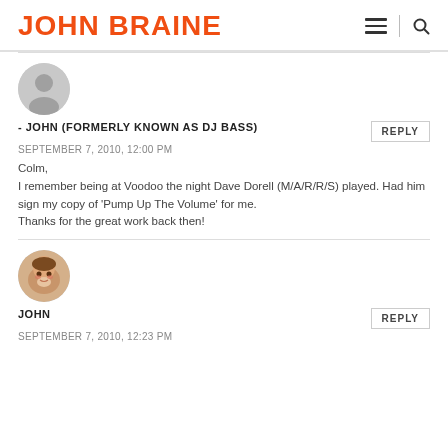JOHN BRAINE
- JOHN (FORMERLY KNOWN AS DJ BASS)
SEPTEMBER 7, 2010, 12:00 PM

Colm,
I remember being at Voodoo the night Dave Dorell (M/A/R/R/S) played. Had him sign my copy of 'Pump Up The Volume' for me.
Thanks for the great work back then!
JOHN
SEPTEMBER 7, 2010, 12:23 PM